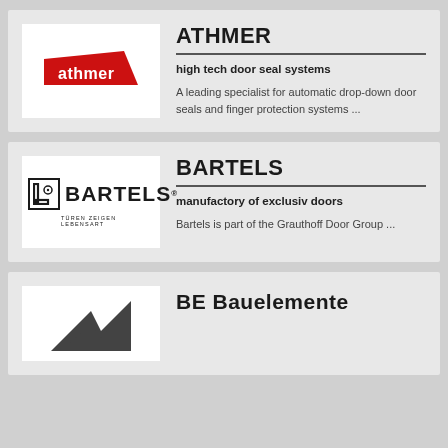[Figure (logo): Athmer logo: red geometric shape with white 'athmer' text]
ATHMER
high tech door seal systems
A leading specialist for automatic drop-down door seals and finger protection systems ...
[Figure (logo): Bartels logo: square icon with L-shape and circle, bold BARTELS text, tagline TÜREN ZEIGEN LEBENSART]
BARTELS
manufactory of exclusiv doors
Bartels is part of the Grauthoff Door Group ...
[Figure (logo): BE Bauelemente logo partially visible at bottom]
BE Bauelemente